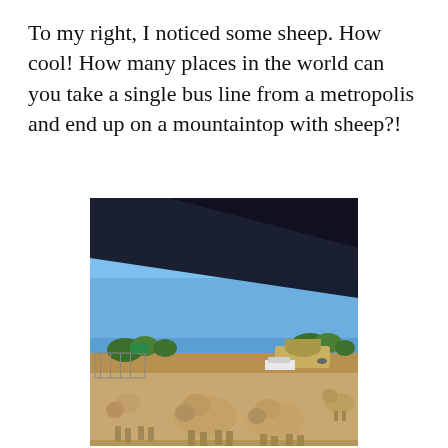To my right, I noticed some sheep.  How cool!  How many places in the world can you take a single bus line from a metropolis and end up on a mountaintop with sheep?!
[Figure (photo): A photo taken from inside a bus showing sheep and farm animals on a dusty field under a bright blue sky, with trees, a trailer/tank vehicle, and farm structures visible in the background. A dark diagonal line from a bus window frame cuts across the upper-left portion of the image.]